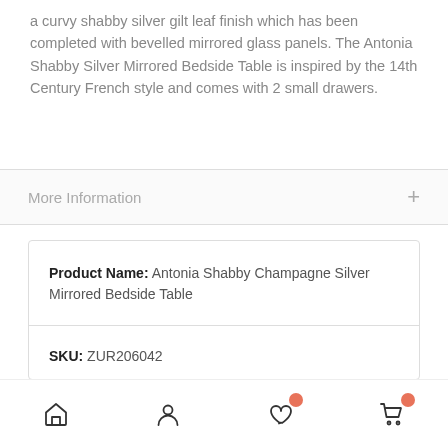a curvy shabby silver gilt leaf finish which has been completed with bevelled mirrored glass panels. The Antonia Shabby Silver Mirrored Bedside Table is inspired by the 14th Century French style and comes with 2 small drawers.
More Information
| Product Name: | Antonia Shabby Champagne Silver Mirrored Bedside Table |
| SKU: | ZUR206042 |
[Figure (other): Bottom navigation bar with home, user, heart/wishlist, and cart icons. Heart and cart icons each have a salmon/orange notification badge.]